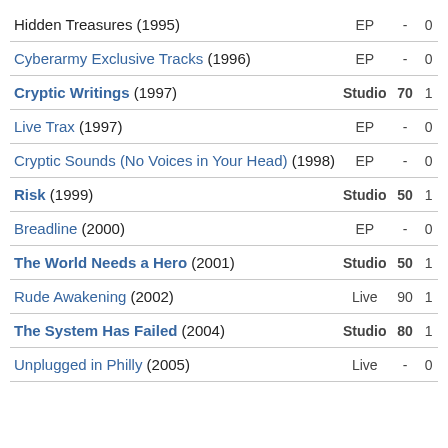| Album | Type | Score | Count |
| --- | --- | --- | --- |
| Hidden Treasures (1995) | EP | - | 0 |
| Cyberarmy Exclusive Tracks (1996) | EP | - | 0 |
| Cryptic Writings (1997) | Studio | 70 | 1 |
| Live Trax (1997) | EP | - | 0 |
| Cryptic Sounds (No Voices in Your Head) (1998) | EP | - | 0 |
| Risk (1999) | Studio | 50 | 1 |
| Breadline (2000) | EP | - | 0 |
| The World Needs a Hero (2001) | Studio | 50 | 1 |
| Rude Awakening (2002) | Live | 90 | 1 |
| The System Has Failed (2004) | Studio | 80 | 1 |
| Unplugged in Philly (2005) | Live | - | 0 |